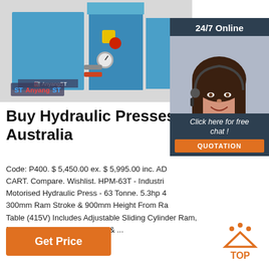[Figure (photo): Blue hydraulic press machine with yellow and red buttons, gauges, and hoses, branded Anyang ST]
Buy Hydraulic Presses Online Australia
Code: P400. $ 5,450.00 ex. $ 5,995.00 inc. ADD TO CART. Compare. Wishlist. HPM-63T - Industrial Motorised Hydraulic Press - 63 Tonne. 5.3hp 4 300mm Ram Stroke & 900mm Height From Ram Table (415V) Includes Adjustable Sliding Cylinder Ram, Pressure Gauge, Table Insert & ...
[Figure (photo): Customer service representative woman with headset, smiling, with 24/7 Online banner and dark background panel with Click here for free chat and QUOTATION button]
Get Price